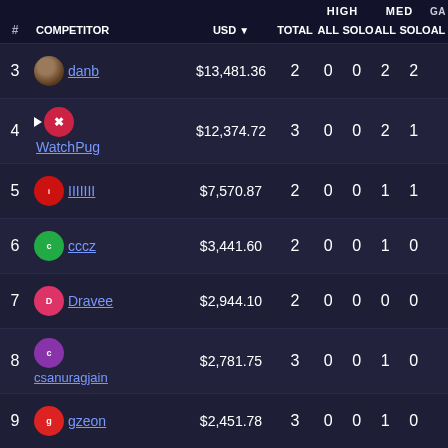| # | COMPETITOR | USD ▼ | TOTAL | HIGH ALL | HIGH SOLO | MED ALL | MED SOLO | GA AL |
| --- | --- | --- | --- | --- | --- | --- | --- | --- |
| 3 | danb | $13,481.36 | 2 | 0 | 0 | 2 | 2 |  |
| 4 | WatchPug | $12,374.72 | 3 | 0 | 0 | 2 | 1 |  |
| 5 | IIIIIII | $7,570.87 | 2 | 0 | 0 | 1 | 1 |  |
| 6 | cccz | $3,441.60 | 2 | 0 | 0 | 1 | 0 |  |
| 7 | Dravee | $2,944.10 | 2 | 0 | 0 | 0 | 0 |  |
| 8 | csanuragjain | $2,781.75 | 3 | 0 | 0 | 1 | 0 |  |
| 9 | gzeon | $2,451.78 | 3 | 0 | 0 | 1 | 0 |  |